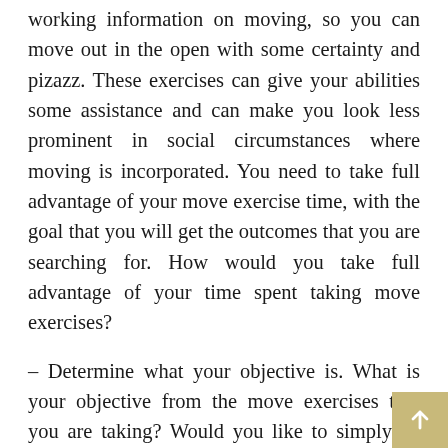working information on moving, so you can move out in the open with some certainty and pizazz. These exercises can give your abilities some assistance and can make you look less prominent in social circumstances where moving is incorporated. You need to take full advantage of your move exercise time, with the goal that you will get the outcomes that you are searching for. How would you take full advantage of your time spent taking move exercises?

– Determine what your objective is. What is your objective from the move exercises that you are taking? Would you like to simply be increasingly open to moving out in the open or would you like to gain proficiency with a specific move all around for a unique event like a wedding or other occasion? In any